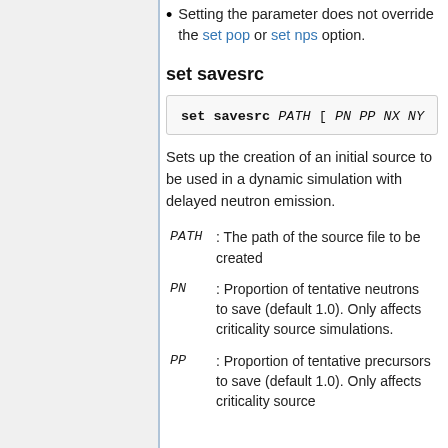Setting the parameter does not override the set pop or set nps option.
set savesrc
set savesrc PATH [ PN PP NX NY
Sets up the creation of an initial source to be used in a dynamic simulation with delayed neutron emission.
PATH : The path of the source file to be created
PN : Proportion of tentative neutrons to save (default 1.0). Only affects criticality source simulations.
PP : Proportion of tentative precursors to save (default 1.0). Only affects criticality source